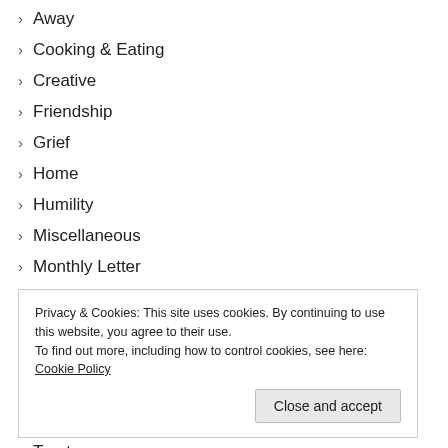Away
Cooking & Eating
Creative
Friendship
Grief
Home
Humility
Miscellaneous
Monthly Letter
Motherhood
Published Elsewhere
Slowing
The Word
Transitions
Trust
Privacy & Cookies: This site uses cookies. By continuing to use this website, you agree to their use. To find out more, including how to control cookies, see here: Cookie Policy
Close and accept